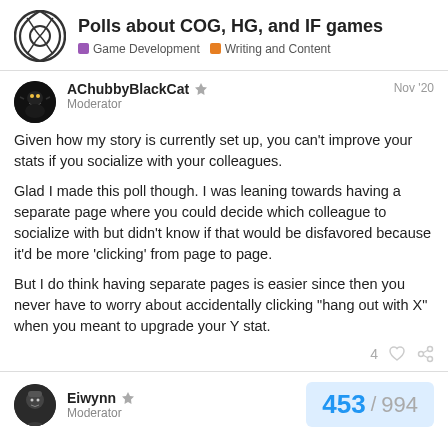Polls about COG, HG, and IF games | Game Development | Writing and Content
AChubbyBlackCat Moderator Nov '20
Given how my story is currently set up, you can't improve your stats if you socialize with your colleagues.
Glad I made this poll though. I was leaning towards having a separate page where you could decide which colleague to socialize with but didn't know if that would be disfavored because it'd be more 'clicking' from page to page.
But I do think having separate pages is easier since then you never have to worry about accidentally clicking "hang out with X" when you meant to upgrade your Y stat.
4
Eiwynn Moderator 453 / 994